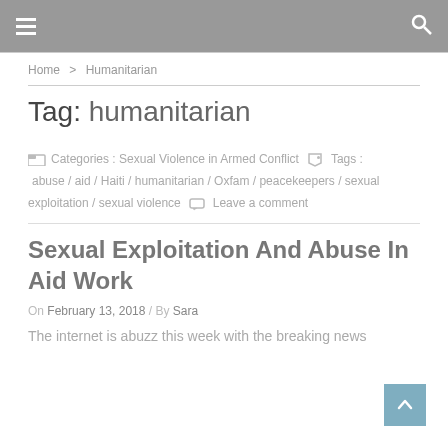☰  🔍
Home > Humanitarian
Tag: humanitarian
Categories : Sexual Violence in Armed Conflict  Tags : abuse / aid / Haiti / humanitarian / Oxfam / peacekeepers / sexual exploitation / sexual violence  Leave a comment
Sexual Exploitation And Abuse In Aid Work
On February 13, 2018 / By Sara
The internet is abuzz this week with the breaking news